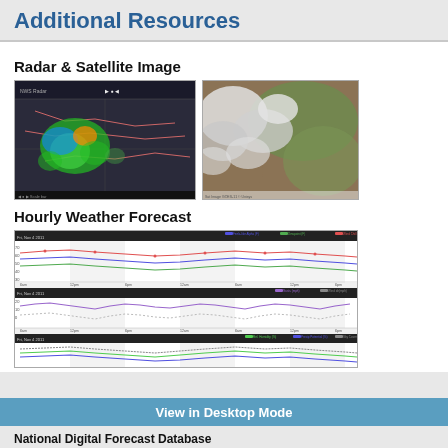Additional Resources
Radar & Satellite Image
[Figure (photo): Radar image showing precipitation over a geographic region with color-coded intensity (green, blue, orange)]
[Figure (photo): Satellite image showing cloud cover over a land region with brown and green terrain]
Hourly Weather Forecast
[Figure (line-chart): Hourly weather forecast chart showing Wind Chill (F), Dewpoint (F), and Feels-like Alphas lines over time, plus Gust/Wind speed and Sky/Humidity/Precip Potential panels]
View in Desktop Mode
National Digital Forecast Database